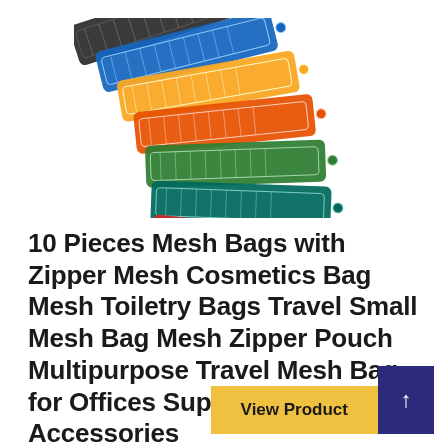[Figure (photo): Stack of 10 colorful mesh zipper bags fanned out diagonally, showing multiple colors: black, blue, yellow, orange, green, teal, and red]
10 Pieces Mesh Bags with Zipper Mesh Cosmetics Bag Mesh Toiletry Bags Travel Small Mesh Bag Mesh Zipper Pouch Multipurpose Travel Mesh Bag for Offices Supplies Travel Accessories
View Product